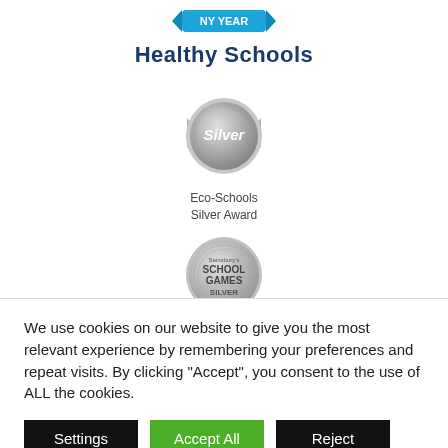[Figure (logo): Healthy Schools logo with coloured banner icon at top and bold navy text 'Healthy Schools' below]
[Figure (logo): Eco-Schools Silver Award medal — silver circular badge with ribbon, text 'Silver' on badge]
Eco-Schools
Silver Award
[Figure (logo): Sainsbury's School Games Silver award badge — silver circular badge with text 'Sainsbury's SCHOOL GAMES SILVER']
We use cookies on our website to give you the most relevant experience by remembering your preferences and repeat visits. By clicking “Accept”, you consent to the use of ALL the cookies.
Settings | Accept All | Reject